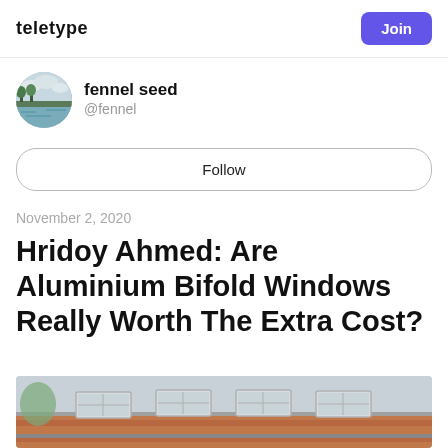teletype | Join
[Figure (photo): Circular avatar photo showing a landscape with water and trees under a cloudy sky]
fennel seed
@fennel
Follow
November 2, 2020
Hridoy Ahmed: Are Aluminium Bifold Windows Really Worth The Extra Cost?
[Figure (photo): Partial photo of a rooftop with skylights on a brick building]